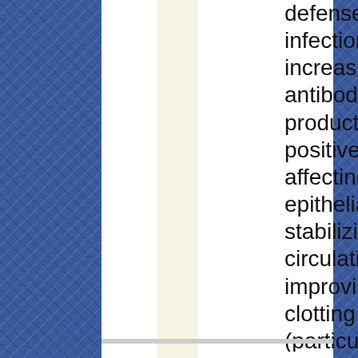defense against infections by increasing antibody production, positively affecting the epithelial tissue, stabilizing circulation and improving blood clotting (particularly important with antibiotic treatments).